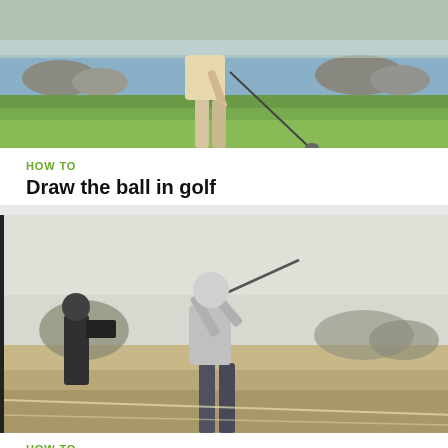[Figure (photo): Golfer mid-swing on a golf course near a water hazard with rocks and green grass in the background]
HOW TO
Draw the ball in golf
[Figure (photo): Golfer in follow-through position after swing on a desert golf course, with another person and camera equipment visible in the background]
HOW TO
Stay behind the ball in golf